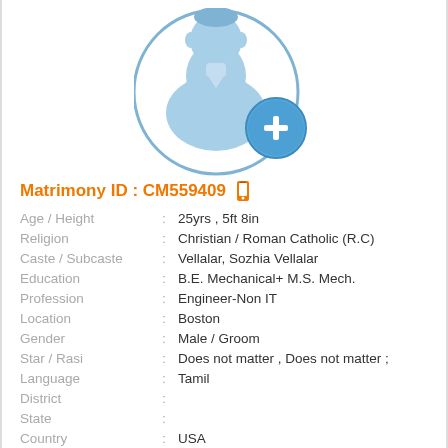[Figure (illustration): Placeholder profile image of a male silhouette in blue with a circular blue plus/add icon overlay in the lower right]
Matrimony ID : CM559409
| Age / Height | : | 25yrs , 5ft 8in |
| Religion | : | Christian / Roman Catholic (R.C) |
| Caste / Subcaste | : | Vellalar, Sozhia Vellalar |
| Education | : | B.E. Mechanical+ M.S. Mech. |
| Profession | : | Engineer-Non IT |
| Location | : | Boston |
| Gender | : | Male / Groom |
| Star / Rasi | : | Does not matter , Does not matter ; |
| Language | : | Tamil |
| District | : |  |
| State | : |  |
| Country | : | USA |